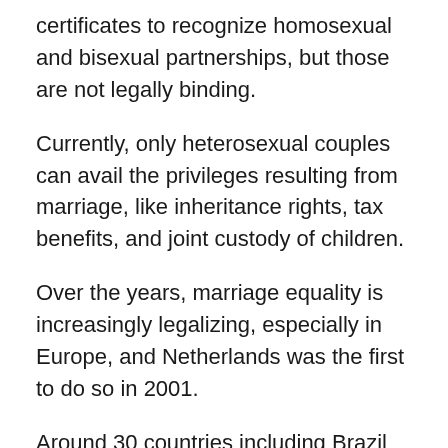certificates to recognize homosexual and bisexual partnerships, but those are not legally binding.
Currently, only heterosexual couples can avail the privileges resulting from marriage, like inheritance rights, tax benefits, and joint custody of children.
Over the years, marriage equality is increasingly legalizing, especially in Europe, and Netherlands was the first to do so in 2001.
Around 30 countries including Brazil and Sweden recognize same-sex marriage.